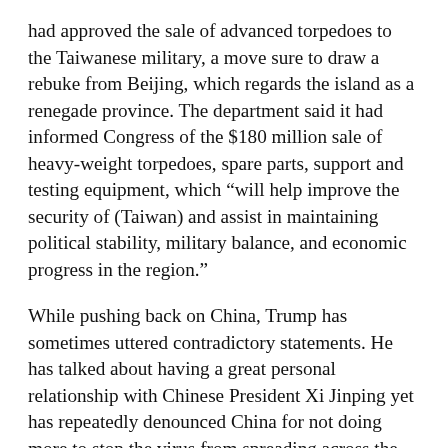had approved the sale of advanced torpedoes to the Taiwanese military, a move sure to draw a rebuke from Beijing, which regards the island as a renegade province. The department said it had informed Congress of the $180 million sale of heavy-weight torpedoes, spare parts, support and testing equipment, which “will help improve the security of (Taiwan) and assist in maintaining political stability, military balance, and economic progress in the region.”
While pushing back on China, Trump has sometimes uttered contradictory statements. He has talked about having a great personal relationship with Chinese President Xi Jinping yet has repeatedly denounced China for not doing more to stop the virus from spreading across the world. He’ll criticize China, then say he wants Beijing to sign Phase II of a trade deal and join the United States and Russia in a three-way nuclear arms control treaty.
Late Wednesday, Trump wrote on Twitter that China’s